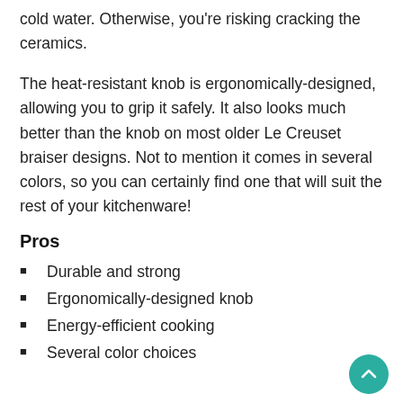cold water. Otherwise, you're risking cracking the ceramics.
The heat-resistant knob is ergonomically-designed, allowing you to grip it safely. It also looks much better than the knob on most older Le Creuset braiser designs. Not to mention it comes in several colors, so you can certainly find one that will suit the rest of your kitchenware!
Pros
Durable and strong
Ergonomically-designed knob
Energy-efficient cooking
Several color choices